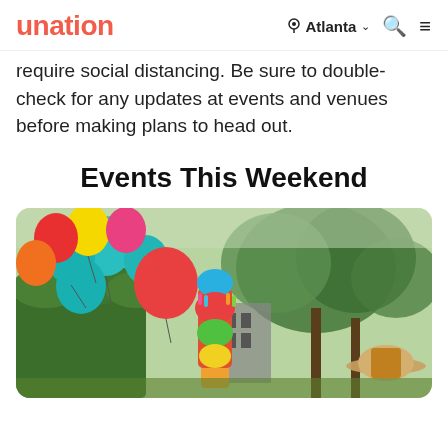unation   Atlanta   [search]   [menu]
require social distancing. Be sure to double-check for any updates at events and venues before making plans to head out.
Events This Weekend
[Figure (photo): Outdoor festival scene with colorful balloons (red, yellow, teal, pink, orange) and a decorated piñata figure in the foreground, green trees and a building in the background, with a person wearing a sombrero visible on the right.]